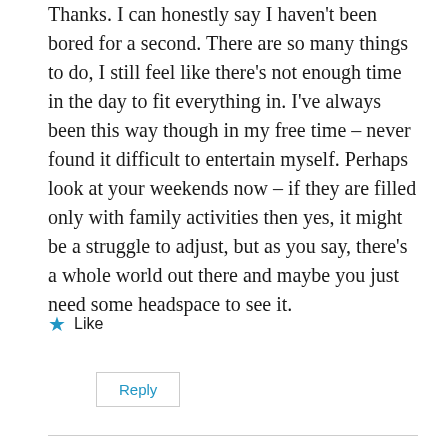Thanks. I can honestly say I haven't been bored for a second. There are so many things to do, I still feel like there's not enough time in the day to fit everything in. I've always been this way though in my free time – never found it difficult to entertain myself. Perhaps look at your weekends now – if they are filled only with family activities then yes, it might be a struggle to adjust, but as you say, there's a whole world out there and maybe you just need some headspace to see it.
★ Like
Reply